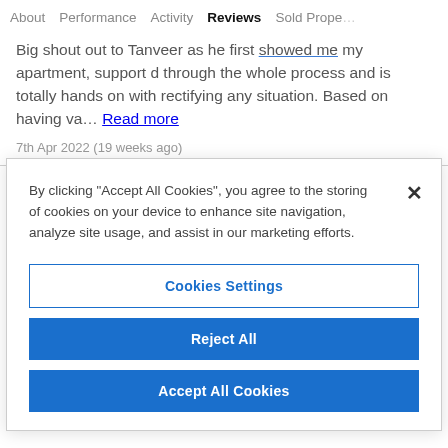About   Performance   Activity   Reviews   Sold Prope…
Big shout out to Tanveer as he first showed me my apartment, support d through the whole process and is totally hands on with rectifying any situation. Based on having va…  Read more
7th Apr 2022 (19 weeks ago)
By clicking "Accept All Cookies", you agree to the storing of cookies on your device to enhance site navigation, analyze site usage, and assist in our marketing efforts.
Cookies Settings
Reject All
Accept All Cookies